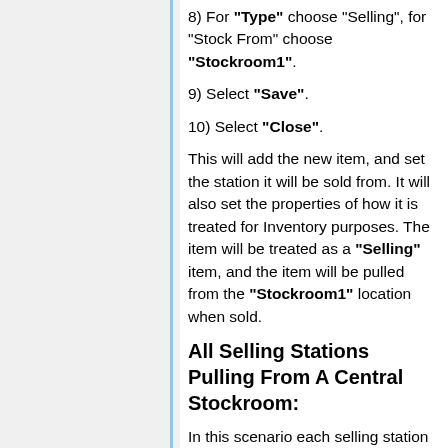8) For "Type" choose "Selling", for "Stock From" choose "Stockroom1".
9) Select "Save".
10) Select "Close".
This will add the new item, and set the station it will be sold from. It will also set the properties of how it is treated for Inventory purposes. The item will be treated as a "Selling" item, and the item will be pulled from the "Stockroom1" location when sold.
All Selling Stations Pulling From A Central Stockroom:
In this scenario each selling station is configured to pull inventory from a central stockroom. All of the inventory in the building is treated as being in the stockroom.